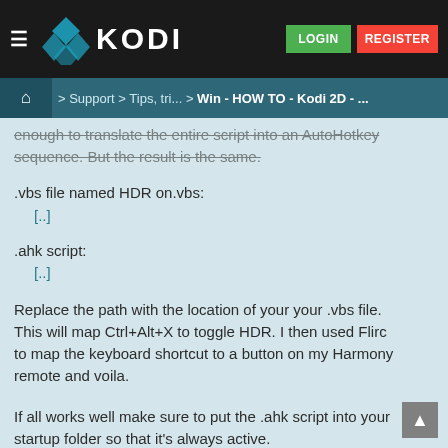≡  ◆ KODI   LOGIN  REGISTER
🏠 > Support > Tips, tri... > Win - HOW TO - Kodi 2D - ...
enough to translate the entire script into an AutoHotkey sequence. But the result is the same.
.vbs file named HDR on.vbs:
  [..]

.ahk script:
  [..]
Replace the path with the location of your your .vbs file. This will map Ctrl+Alt+X to toggle HDR. I then used Flirc to map the keyboard shortcut to a button on my Harmony remote and voila.
If all works well make sure to put the .ahk script into your startup folder so that it's always active.